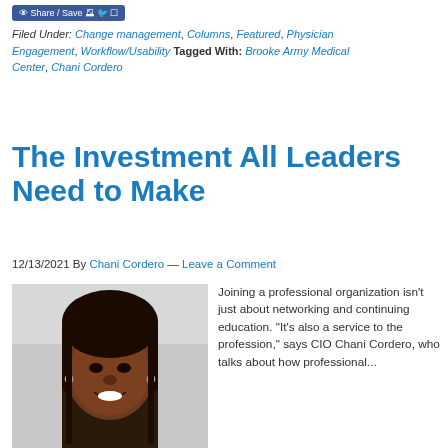Share / Save
Filed Under: Change management, Columns, Featured, Physician Engagement, Workflow/Usability Tagged With: Brooke Army Medical Center, Chani Cordero
The Investment All Leaders Need to Make
12/13/2021 By Chani Cordero — Leave a Comment
[Figure (photo): Headshot photo of Chani Cordero, a woman with long dark hair, smiling, wearing earrings, against a light gray background.]
Joining a professional organization isn’t just about networking and continuing education. “It’s also a service to the profession,” says CIO Chani Cordero, who talks about how professional...